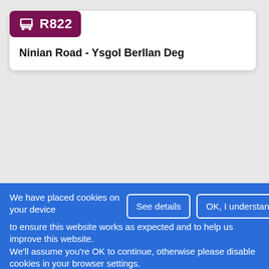R822 - Ninian Road - Ysgol Berllan Deg
Links
We have placed cookies on your device to ensure this website works as expected and to help us improve this website. We'll assume you're OK to continue, otherwise please disable cookies in your browser settings.